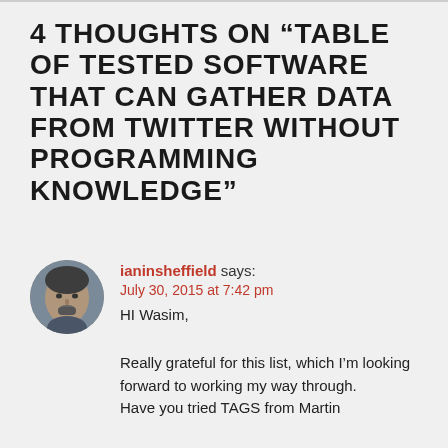4 THOUGHTS ON “TABLE OF TESTED SOFTWARE THAT CAN GATHER DATA FROM TWITTER WITHOUT PROGRAMMING KNOWLEDGE”
ianinsheffield says: July 30, 2015 at 7:42 pm HI Wasim,
Really grateful for this list, which I’m looking forward to working my way through.
Have you tried TAGS from Martin